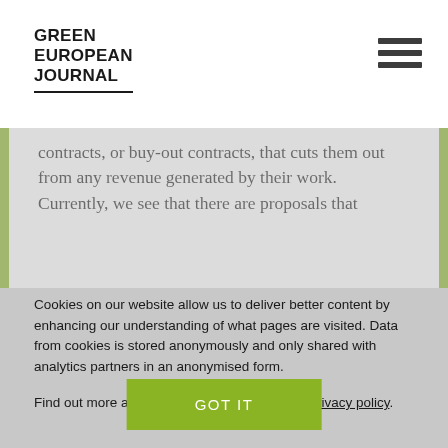GREEN EUROPEAN JOURNAL
contracts, or buy-out contracts, that cuts them out from any revenue generated by their work. Currently, we see that there are proposals that
Cookies on our website allow us to deliver better content by enhancing our understanding of what pages are visited. Data from cookies is stored anonymously and only shared with analytics partners in an anonymised form.
Find out more about our use of cookies in our privacy policy.
GOT IT